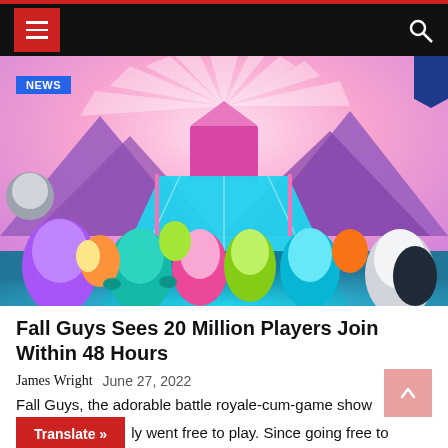Navigation bar with hamburger menu and search icon
[Figure (screenshot): Fall Guys game screenshot showing colorful jellybean-like characters on a game show obstacle course stage with purple mountains and pink/teal track in background. NEWS badge overlay in top left.]
Fall Guys Sees 20 Million Players Join Within 48 Hours
James Wright  June 27, 2022
Fall Guys, the adorable battle royale-cum-game show recently went free to play. Since going free to